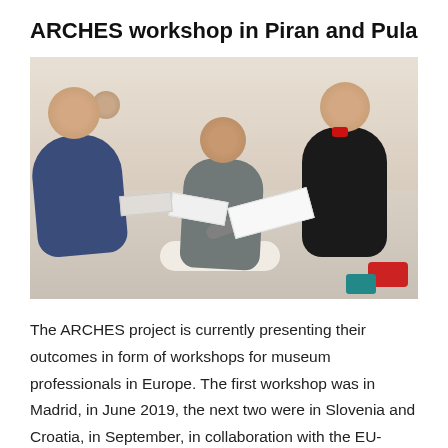ARCHES workshop in Piran and Pula
[Figure (photo): Three people sitting in a circle, examining papers and cards together in a workshop setting. A woman in a blue floral top on the left, a man in a checkered shirt in the center, and a woman in black on the right.]
The ARCHES project is currently presenting their outcomes in form of workshops for museum professionals in Europe. The first workshop was in Madrid, in June 2019, the next two were in Slovenia and Croatia, in September, in collaboration with the EU-funded project COME-IN. Look at the outcome of our